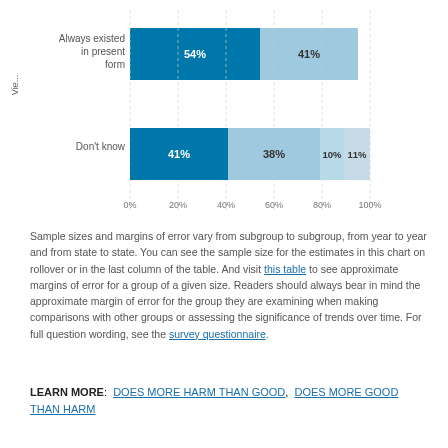[Figure (stacked-bar-chart): Views on whether social media has always existed in present form or don't know]
Sample sizes and margins of error vary from subgroup to subgroup, from year to year and from state to state. You can see the sample size for the estimates in this chart on rollover or in the last column of the table. And visit this table to see approximate margins of error for a group of a given size. Readers should always bear in mind the approximate margin of error for the group they are examining when making comparisons with other groups or assessing the significance of trends over time. For full question wording, see the survey questionnaire.
LEARN MORE: DOES MORE HARM THAN GOOD, DOES MORE GOOD THAN HARM